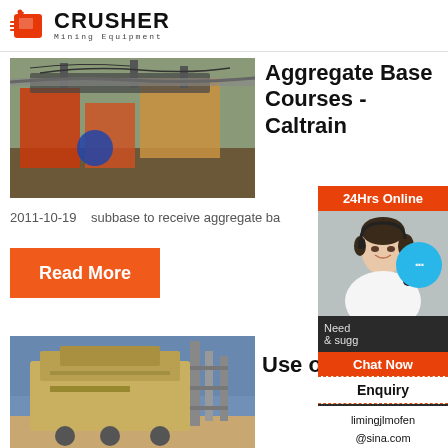CRUSHER Mining Equipment
[Figure (photo): Industrial mining/crushing equipment with conveyor belts and large machinery in outdoor setting]
Aggregate Base Courses - Caltrain
2011-10-19    subbase to receive aggregate ba...
Read More
[Figure (photo): Large yellow industrial crusher/mining machine outdoors against blue sky]
Use o...
24Hrs Online
[Figure (photo): Customer service representative woman with headset smiling]
Need & sugg...
Chat Now
Enquiry
limingjlmofen@sina.com